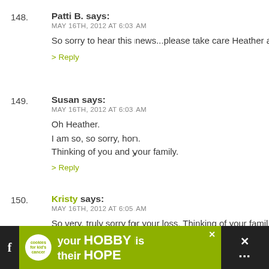148. Patti B. says: MAY 16TH, 2012 AT 6:03 AM — So sorry to hear this news...please take care Heather ar
149. Susan says: MAY 16TH, 2012 AT 6:03 AM — Oh Heather. I am so, so sorry, hon. Thinking of you and your family.
150. Kristy says: MAY 16TH, 2012 AT 6:05 AM — So very, truly sorry for your loss. Thinking of your famil
[Figure (infographic): Green advertisement banner for 'cookies for kid's cancer' with text 'your HOBBY is their HOPE', close button, and surrounding dark navigation bar with Facebook icon and other icons.]